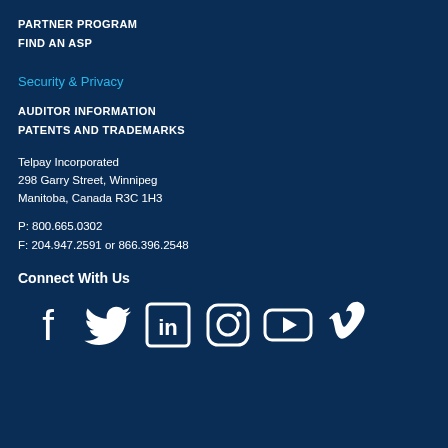PARTNER PROGRAM
FIND AN ASP
Security & Privacy
AUDITOR INFORMATION
PATENTS AND TRADEMARKS
Telpay Incorporated
298 Garry Street, Winnipeg
Manitoba, Canada R3C 1H3
P: 800.665.0302
F: 204.947.2591 or 866.396.2548
Connect With Us
[Figure (infographic): Social media icons row: Facebook, Twitter, LinkedIn, Instagram, YouTube, Vimeo]